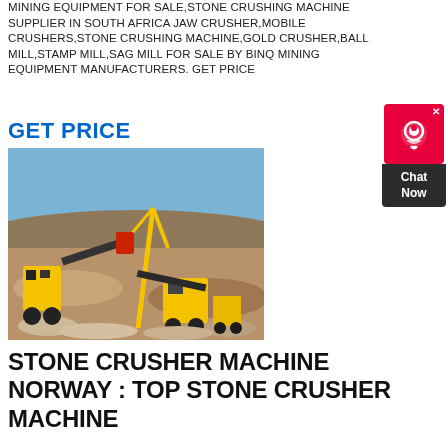MINING EQUIPMENT FOR SALE,STONE CRUSHING MACHINE SUPPLIER IN SOUTH AFRICA JAW CRUSHER,MOBILE CRUSHERS,STONE CRUSHING MACHINE,GOLD CRUSHER,BALL MILL,STAMP MILL,SAG MILL FOR SALE BY BINQ MINING EQUIPMENT MANUFACTURERS. GET PRICE
GET PRICE
[Figure (photo): Outdoor mining site with yellow stone crusher machines and conveyor belts in an arid landscape with blue sky.]
[Figure (other): Chat Now customer support widget with red icon box and dark chat now label.]
STONE CRUSHER MACHINE NORWAY : TOP STONE CRUSHER MACHINE